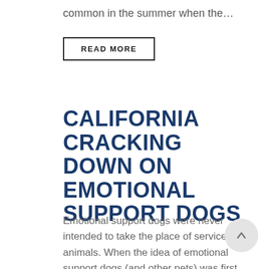common in the summer when the…
READ MORE
CALIFORNIA CRACKING DOWN ON EMOTIONAL SUPPORT DOGS
Emotional support dogs were never intended to take the place of service animals. When the idea of emotional support dogs (and other pets) was first introduced, it was to…